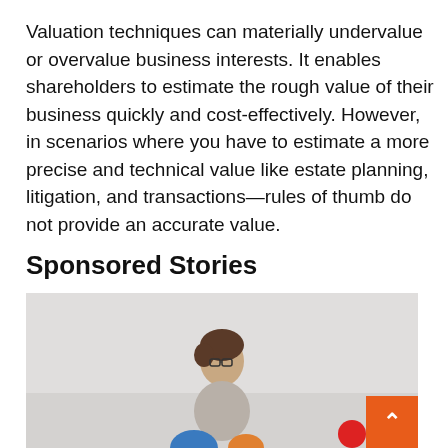Valuation techniques can materially undervalue or overvalue business interests. It enables shareholders to estimate the rough value of their business quickly and cost-effectively. However, in scenarios where you have to estimate a more precise and technical value like estate planning, litigation, and transactions—rules of thumb do not provide an accurate value.
Sponsored Stories
[Figure (photo): A person (woman with glasses and short hair) standing against a light grey/white background, with colorful objects partially visible at the bottom. An orange scroll-to-top button and a red circle are visible in the bottom right corner.]